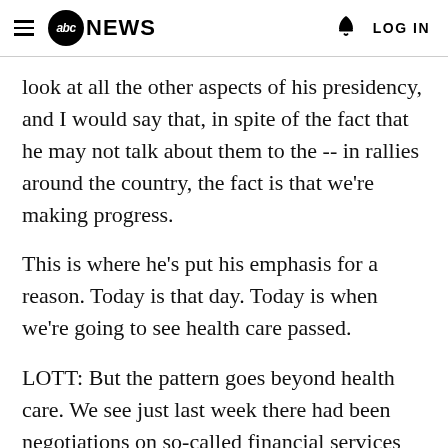abc NEWS  LOG IN
look at all the other aspects of his presidency, and I would say that, in spite of the fact that he may not talk about them to the -- in rallies around the country, the fact is that we're making progress.
This is where he's put his emphasis for a reason. Today is that day. Today is when we're going to see health care passed.
LOTT: But the pattern goes beyond health care. We see just last week there had been negotiations on so-called financial services reform. There's been a lot of bipartisan effort going on with Senator Corker, Senator Shelby